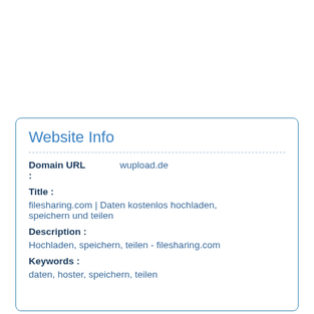Website Info
Domain URL : wupload.de
Title :
filesharing.com | Daten kostenlos hochladen, speichern und teilen
Description :
Hochladen, speichern, teilen - filesharing.com
Keywords :
daten, hoster, speichern, teilen